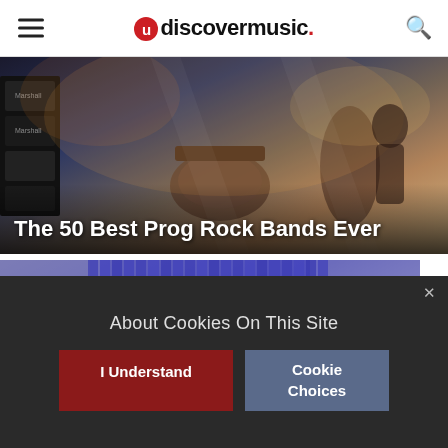udiscovermusic.
[Figure (photo): Concert/band photo with instruments, dark atmospheric lighting with warm tones]
The 50 Best Prog Rock Bands Ever
[Figure (photo): Camel album art - The Single Factor, blue vertical lines pattern]
'The Single Factor': A Camel Classic That
About Cookies On This Site
I Understand
Cookie Choices